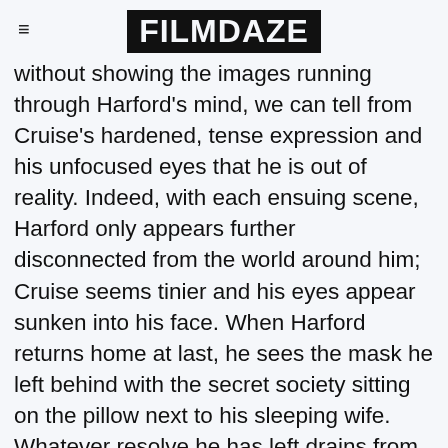FILMDAZE
without showing the images running through Harford's mind, we can tell from Cruise's hardened, tense expression and his unfocused eyes that he is out of reality. Indeed, with each ensuing scene, Harford only appears further disconnected from the world around him; Cruise seems tinier and his eyes appear sunken into his face. When Harford returns home at last, he sees the mask he left behind with the secret society sitting on the pillow next to his sleeping wife. Whatever resolve he has left drains from his body: tears fall down his quivering face, he collapses on the bed, and he says to Alice between sobs, “I’ll tell you everything.” Whether the mask was really there remains ambiguous, as does much of Eyes Wide Shut. Cruise’s delivery alone tells us